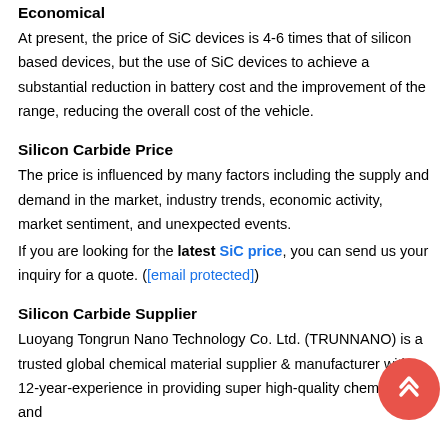Economical
At present, the price of SiC devices is 4-6 times that of silicon based devices, but the use of SiC devices to achieve a substantial reduction in battery cost and the improvement of the range, reducing the overall cost of the vehicle.
Silicon Carbide Price
The price is influenced by many factors including the supply and demand in the market, industry trends, economic activity, market sentiment, and unexpected events.
If you are looking for the latest SiC price, you can send us your inquiry for a quote. ([email protected])
Silicon Carbide Supplier
Luoyang Tongrun Nano Technology Co. Ltd. (TRUNNANO) is a trusted global chemical material supplier & manufacturer with 12-year-experience in providing super high-quality chemicals and